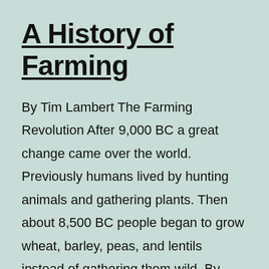A History of Farming
By Tim Lambert The Farming Revolution After 9,000 BC a great change came over the world. Previously humans lived by hunting animals and gathering plants. Then about 8,500 BC people began to grow wheat, barley, peas, and lentils instead of gathering them wild. By 7,000 BC they domesticated sheep, pigs, and goats. By 6,000 BC… Continue reading